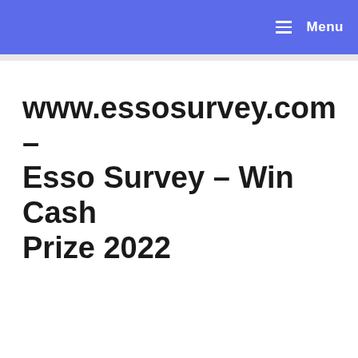Menu
www.essosurvey.com – Esso Survey – Win Cash Prize 2022